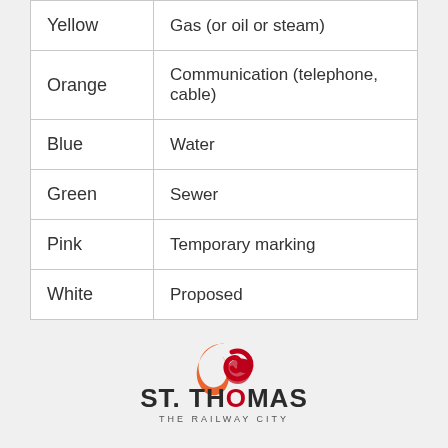| Yellow | Gas (or oil or steam) |
| Orange | Communication (telephone, cable) |
| Blue | Water |
| Green | Sewer |
| Pink | Temporary marking |
| White | Proposed |
[Figure (logo): City of St. Thomas - The Railway City logo with stylized flame/swirl graphic in orange and red above bold text ST. THOMAS with THE RAILWAY CITY subtitle]
City of St. Thomas